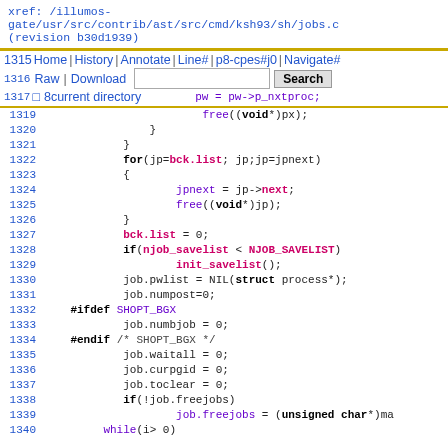xref: /illumos-gate/usr/src/contrib/ast/src/cmd/ksh93/sh/jobs.c (revision b30d1939)
Navigation bar: Home | History | Annotate | Line# | p8-cpes#j0 | Navigate# | Raw | Download | [search box] | Search | current directory
Code lines 1315-1339 of jobs.c